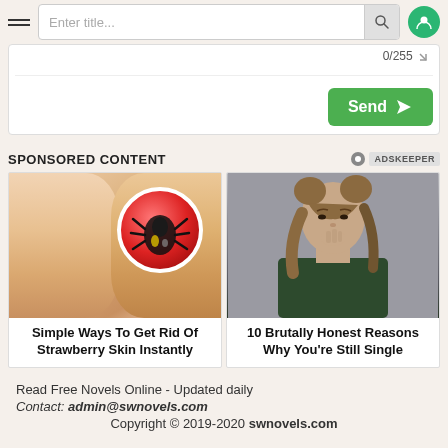Enter title...
0/255
Send
SPONSORED CONTENT
[Figure (photo): Advertisement image showing skin/legs with a circular medical illustration overlay, captioned 'Simple Ways To Get Rid Of Strawberry Skin Instantly']
[Figure (photo): Advertisement image showing a young woman with hair in two buns, captioned '10 Brutally Honest Reasons Why You're Still Single']
Simple Ways To Get Rid Of Strawberry Skin Instantly
10 Brutally Honest Reasons Why You're Still Single
Read Free Novels Online - Updated daily
Contact: admin@swnovels.com
Copyright © 2019-2020 swnovels.com